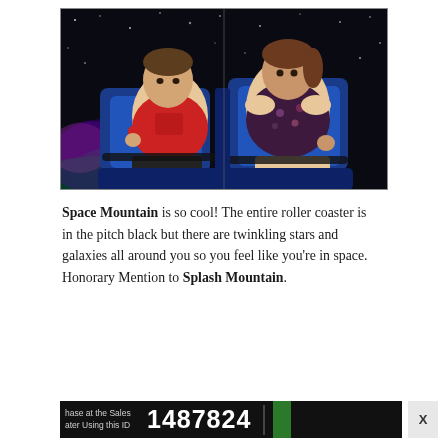[Figure (photo): Two people riding a roller coaster in the dark. A man in a red t-shirt sits in a blue ride vehicle on the left, and a woman in a floral top sits on the right. The background suggests Space Mountain with dark, starry atmosphere.]
Space Mountain is so cool! The entire roller coaster is in the pitch black but there are twinkling stars and galaxies all around you so you feel like you're in space. Honorary Mention to Splash Mountain.
[Figure (screenshot): Dark advertisement bar showing text 'hase at the Sales ater Using this ID' and a large number '1487824' with a green element on the right and a close X button.]